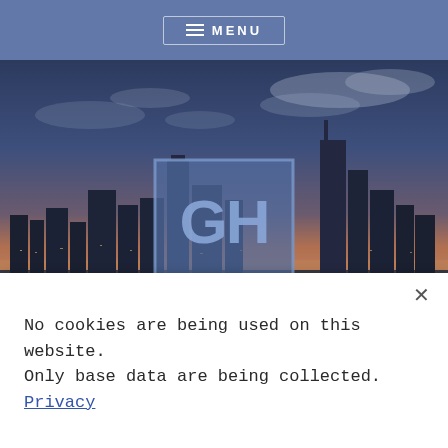≡ MENU
[Figure (screenshot): Chicago city skyline at dusk/night with GH logo (blue square with GH letters) centered in the image, and large white bold text GRUROHELM partially visible at the bottom of the photo section.]
No cookies are being used on this website. Only base data are being collected. Privacy